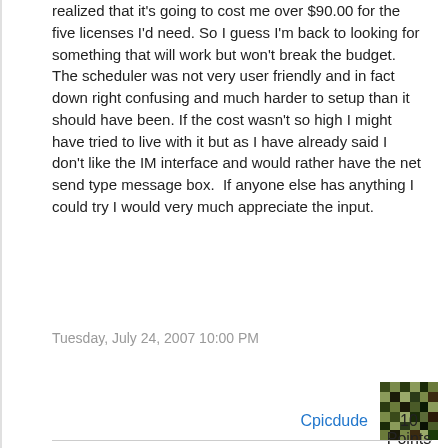realized that it's going to cost me over $90.00 for the five licenses I'd need. So I guess I'm back to looking for something that will work but won't break the budget. The scheduler was not very user friendly and in fact down right confusing and much harder to setup than it should have been. If the cost wasn't so high I might have tried to live with it but as I have already said I don't like the IM interface and would rather have the net send type message box.  If anyone else has anything I could try I would very much appreciate the input.
Tuesday, July 24, 2007 10:00 PM
[Figure (illustration): User avatar for Cpicdude — a pixelated green and black pattern icon]
Cpicdude   10 Points